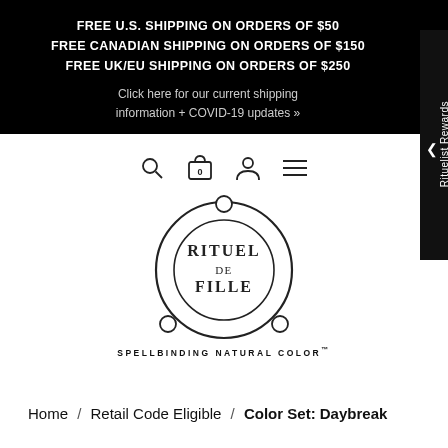FREE U.S. SHIPPING ON ORDERS OF $50
FREE CANADIAN SHIPPING ON ORDERS OF $150
FREE UK/EU SHIPPING ON ORDERS OF $250

Click here for our current shipping information + COVID-19 updates »
[Figure (logo): Rituel de Fille logo: circular emblem with three small circles at top, bottom-left, bottom-right positions, inner circle containing text 'RITUEL DE FILLE', tagline 'SPELLBINDING NATURAL COLOR™']
Home  /  Retail Code Eligible  /  Color Set: Daybreak